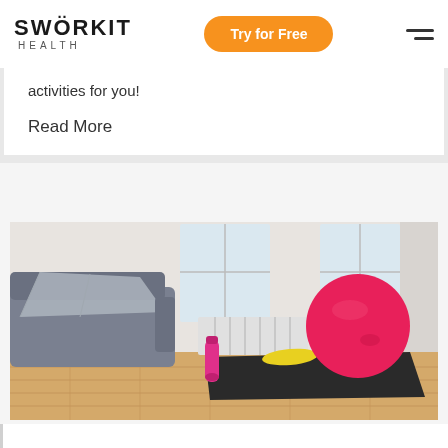SWORKIT HEALTH — Try for Free
activities for you!
Read More
[Figure (photo): A home workout room scene with a pink exercise ball, a black yoga mat, a pink water bottle, a yellow resistance band, a grey couch with a blanket, a white radiator, and a bright window in the background on a wooden floor.]